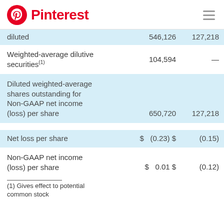Pinterest
|  |  |  |
| --- | --- | --- |
| diluted | 546,126 | 127,218 |
| Weighted-average dilutive securities(1) | 104,594 | — |
| Diluted weighted-average shares outstanding for Non-GAAP net income (loss) per share | 650,720 | 127,218 |
| Net loss per share | $ (0.23) | $ (0.15) |
| Non-GAAP net income (loss) per share | $ 0.01 | $ (0.12) |
(1) Gives effect to potential common stock